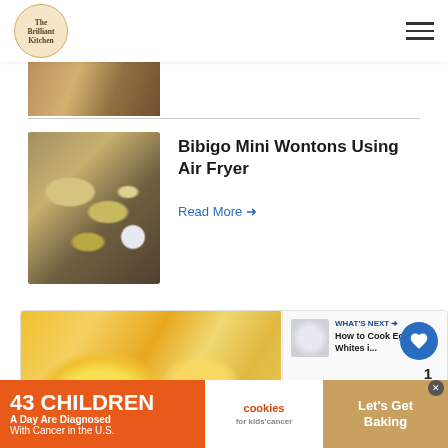The Brilliant Kitchen
[Figure (photo): Partial food photo at top of page, cropped]
[Figure (photo): Bibigo mini wontons with dipping sauce on white plate]
Bibigo Mini Wontons Using Air Fryer
Read More →
[Figure (photo): Close-up food photo with yellow sauce/hollandaise coating, lower card area]
WHAT'S NEXT → How to Cook Egg Whites i...
[Figure (photo): Advertisement banner: 43 CHILDREN A Day Are Diagnosed With Cancer in the U.S. — cookies for kids' cancer — Let's Get Baking]